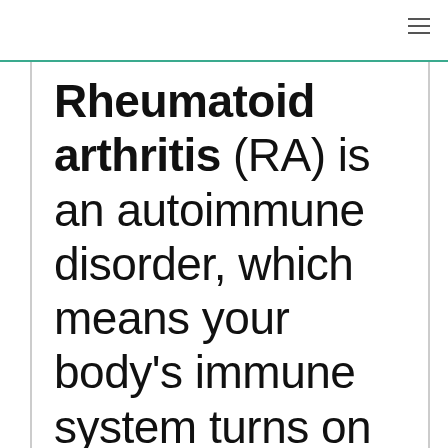Rheumatoid arthritis (RA) is an autoimmune disorder, which means your body's immune system turns on